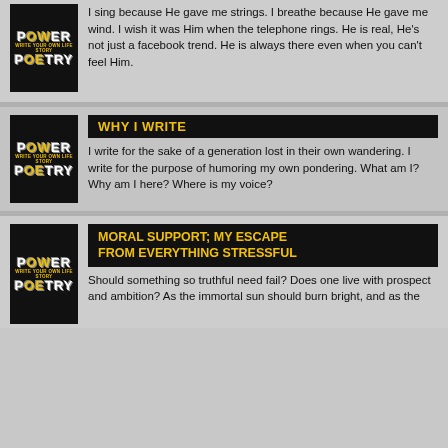I sing because He gave me strings. I breathe because He gave me wind. I wish it was Him when the telephone rings. He is real, He's not just a facebook trend. He is always there even when you can't feel Him.
WHY I WRITE
I write for the sake of a generation lost in their own wandering. I write for the purpose of humoring my own pondering. What am I? Why am I here? Where is my voice?
MORAL SUPPORT; MY ESCAPE FROM EVERYTHING STRESSFUL
Should something so truthful need fail? Does one live with prospect and ambition? As the immortal sun should burn bright, and as the